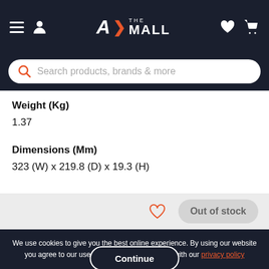[Figure (screenshot): AX The Mall e-commerce website header with hamburger menu, user icon, logo, heart/cart icons, and search bar]
Weight (Kg)
1.37
Dimensions (Mm)
323 (W) x 219.8 (D) x 19.3 (H)
Out of stock
We use cookies to give you the best online experience. By using our website you agree to our use of cookies in accordance with our privacy policy
Continue